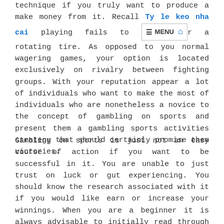technique if you truly want to produce a make money from it. Recall Ty le keo nha cai playing fails to u[MENU][home] r a rotating tire. As opposed to you normal wagering games, your option is located exclusively on rivalry between fighting groups. With your reputation appear a lot of individuals who want to make the most of individuals who are nonetheless a novice to the concept of gambling on sports and present them a gambling sports activities strategy that should certainly promise them victories.
Gambling on sports is just not an easy course of action if you want to be successful in it. You are unable to just trust on luck or gut experiencing. You should know the research associated with it if you would like earn or increase your winnings. When you are a beginner it is always advisable to initially read through preliminary components onto it. Upon having an excellent grasp of your mechanics of this, then you can go to deciding on playing selections. There are numerous free online suggestions on the net which